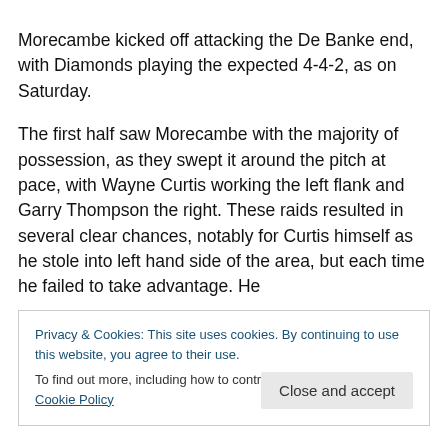Morecambe kicked off attacking the De Banke end, with Diamonds playing the expected 4-4-2, as on Saturday.
The first half saw Morecambe with the majority of possession, as they swept it around the pitch at pace, with Wayne Curtis working the left flank and Garry Thompson the right. These raids resulted in several clear chances, notably for Curtis himself as he stole into left hand side of the area, but each time he failed to take advantage. He
Privacy & Cookies: This site uses cookies. By continuing to use this website, you agree to their use.
To find out more, including how to control cookies, see here: Cookie Policy
Diamonds defence, and saw one of his crosses flash